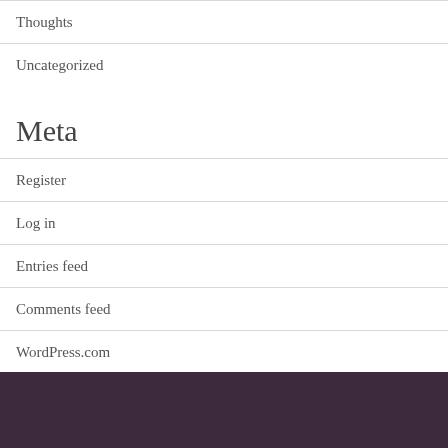Thoughts
Uncategorized
Meta
Register
Log in
Entries feed
Comments feed
WordPress.com